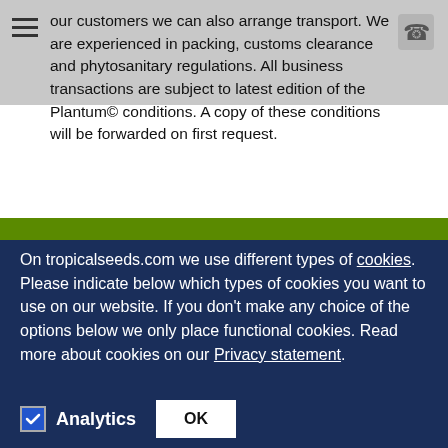our customers we can also arrange transport. We are experienced in packing, customs clearance and phytosanitary regulations. All business transactions are subject to latest edition of the Plantum© conditions. A copy of these conditions will be forwarded on first request.
On tropicalseeds.com we use different types of cookies. Please indicate below which types of cookies you want to use on our website. If you don't make any choice of the options below we only place functional cookies. Read more about cookies on our Privacy statement.
Analytics